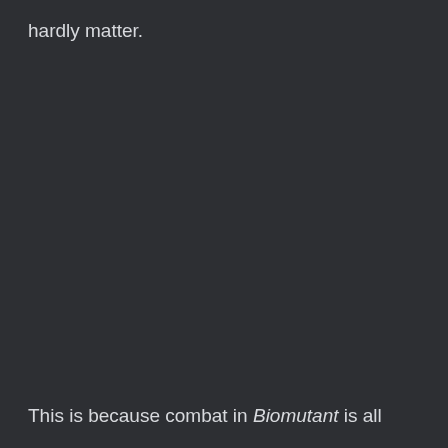hardly matter.
This is because combat in Biomutant is all